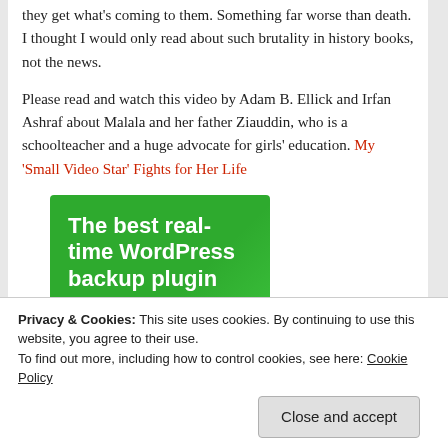they get what's coming to them. Something far worse than death. I thought I would only read about such brutality in history books, not the news.
Please read and watch this video by Adam B. Ellick and Irfan Ashraf about Malala and her father Ziauddin, who is a schoolteacher and a huge advocate for girls' education. My 'Small Video Star' Fights for Her Life
[Figure (screenshot): Green advertisement banner: 'The best real-time WordPress backup plugin' with a 'Back up your site' button]
Privacy & Cookies: This site uses cookies. By continuing to use this website, you agree to their use.
To find out more, including how to control cookies, see here: Cookie Policy
Close and accept